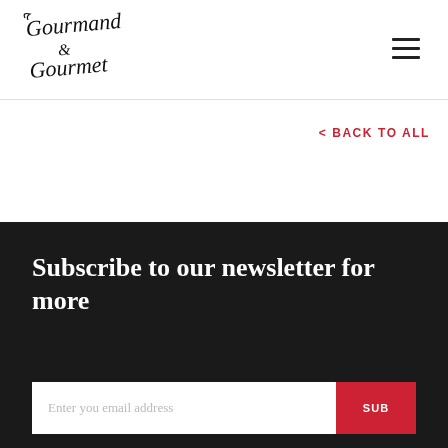Gourmand & Gourmet
< BACK TO ALL
Subscribe to our newsletter for more
Enter you email address
SUBMIT